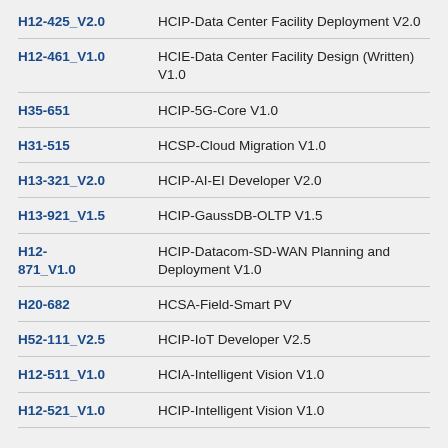H12-425_V2.0 — HCIP-Data Center Facility Deployment V2.0
H12-461_V1.0 — HCIE-Data Center Facility Design (Written) V1.0
H35-651 — HCIP-5G-Core V1.0
H31-515 — HCSP-Cloud Migration V1.0
H13-321_V2.0 — HCIP-AI-EI Developer V2.0
H13-921_V1.5 — HCIP-GaussDB-OLTP V1.5
H12-871_V1.0 — HCIP-Datacom-SD-WAN Planning and Deployment V1.0
H20-682 — HCSA-Field-Smart PV
H52-111_V2.5 — HCIP-IoT Developer V2.5
H12-511_V1.0 — HCIA-Intelligent Vision V1.0
H12-521_V1.0 — HCIP-Intelligent Vision V1.0